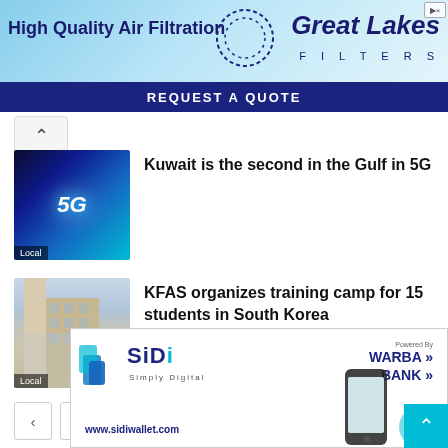[Figure (infographic): Great Lakes Filters advertisement banner with blue sky background, showing 'High Quality Air Filtration' text, Great Lakes Filters logo with dotted circle, and 'REQUEST A QUOTE' navy blue bar at bottom]
[Figure (photo): Thumbnail image of 5G technology with glowing blue network graphics and '5G' label, tagged 'Local']
Kuwait is the second in the Gulf in 5G
[Figure (photo): Thumbnail image of a building exterior, tagged 'Local']
KFAS organizes training camp for 15 students in South Korea
[Figure (infographic): SiDi Simply Digital advertisement with Warba Bank branding, showing www.sidiwallet.com and a phone graphic]
[Figure (infographic): Scroll to top button (cyan/teal colored with up arrow chevron)]